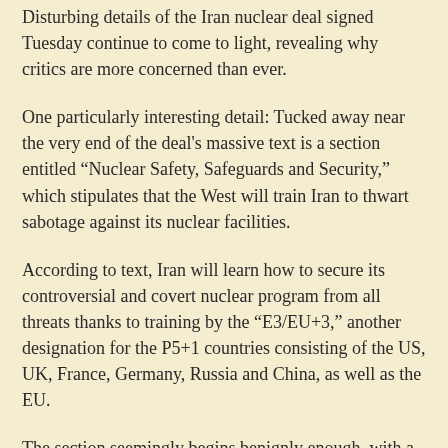Disturbing details of the Iran nuclear deal signed Tuesday continue to come to light, revealing why critics are more concerned than ever.
One particularly interesting detail: Tucked away near the very end of the deal's massive text is a section entitled “Nuclear Safety, Safeguards and Security,” which stipulates that the West will train Iran to thwart sabotage against its nuclear facilities.
According to text, Iran will learn how to secure its controversial and covert nuclear program from all threats thanks to training by the “E3/EU+3,” another designation for the P5+1 countries consisting of the US, UK, France, Germany, Russia and China, as well as the EU.
The section seemingly begins benignly enough, with a clause saying that “E3/EU+3 parties, and possibly other states, as appropriate, are prepared to cooperate with Iran to establish a Nuclear Safety Centre in Iran, engage in workshops and training events in Iran.”
But then things take a turn, with the same world powers obligating to “co-operation in the form of training courses and workshops to strengthen Iran’s ability to prevent, protect and respond to nuclear security threats to nuclear facilities and systems as well as to enable effective and